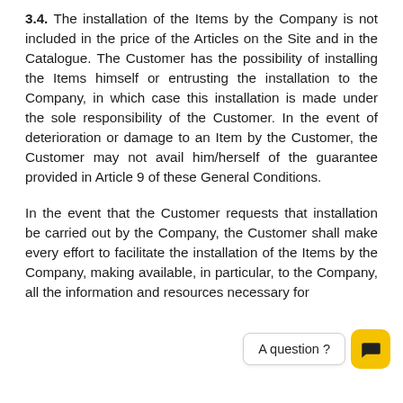3.4. The installation of the Items by the Company is not included in the price of the Articles on the Site and in the Catalogue. The Customer has the possibility of installing the Items himself or entrusting the installation to the Company, in which case this installation is made under the sole responsibility of the Customer. In the event of deterioration or damage to an Item by the Customer, the Customer may not avail him/herself of the guarantee provided in Article 9 of these General Conditions.
In the event that the Customer requests that installation be carried out by the Company, the Customer shall make every effort to facilitate the installation of the Items by the Company, making available, in particular, to the Company, all the information and resources necessary for